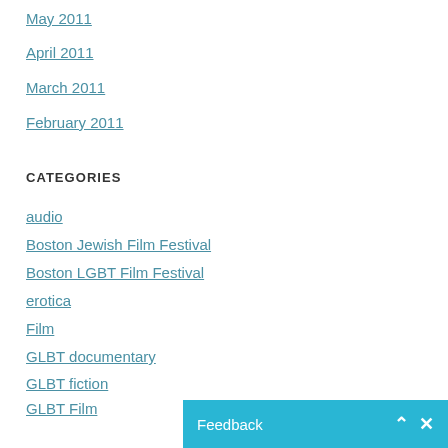May 2011
April 2011
March 2011
February 2011
CATEGORIES
audio
Boston Jewish Film Festival
Boston LGBT Film Festival
erotica
Film
GLBT documentary
GLBT fiction
GLBT Film
GLBT memoir and/or biography
GLBT non-fiction
GLBT poetry